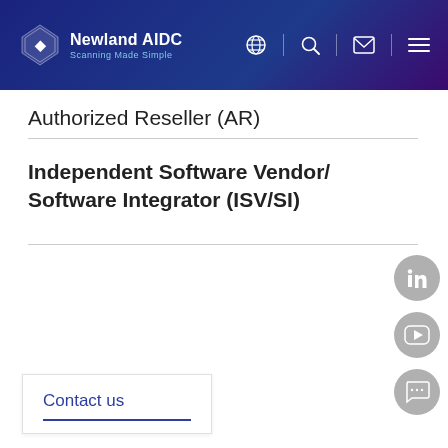[Figure (logo): Newland AIDC logo with diamond shape icon and tagline 'Scanning Made Simple', with navigation icons (globe, search, mail, menu) in a dark blue/purple header bar]
Authorized Reseller (AR)
Independent Software Vendor/ Software Integrator (ISV/SI)
[Figure (other): Social media icons: LinkedIn, YouTube, and chat/messaging circles on the right side]
Contact us